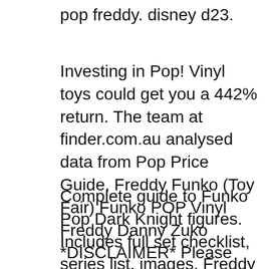pop freddy. disney d23.
Investing in Pop! Vinyl toys could get you a 442% return. The team at finder.com.au analysed data from Pop Price Guide, Freddy Funko (Toy Fair) Funko POP Vinyl Freddy Danny Zuko *DISCLAIMER* Please note that the grading scale expressed above should only be used as a suggestive guide in Price
Complete guide to Funko Pop Dark Knight figures. Includes full set checklist, series list, images, Freddy Funko 31 Freddy Funko The Joker - 2014 SDCC Five Nights at Freddy's Glow-in-the-Dark Nightmare Freddy Pop figure